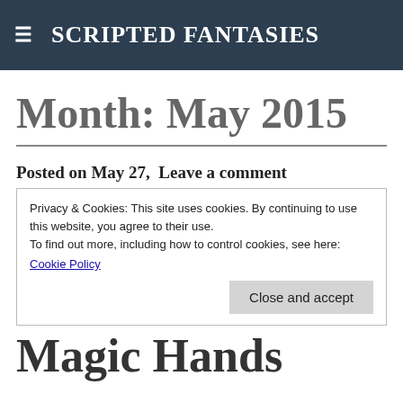SCRIPTED FANTASIES
Month: May 2015
Posted on May 27,  Leave a comment
Privacy & Cookies: This site uses cookies. By continuing to use this website, you agree to their use.
To find out more, including how to control cookies, see here:
Cookie Policy
Close and accept
Magic Hands